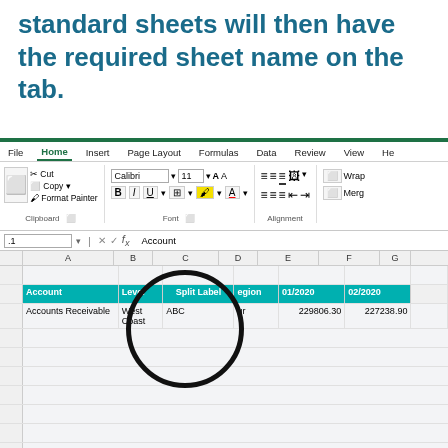standard sheets will then have the required sheet name on the tab.
[Figure (screenshot): Microsoft Excel ribbon and spreadsheet showing columns Account, Level, Split Label, Region, 01/2020, 02/2020 with header row in teal. A black circle annotation highlights the Split Label column (column C). Data row shows: Accounts Receivable, West Coast, ABC, [Region cut off], 229806.30, 227238.90. A formula bar shows 'Account' in the formula input area.]